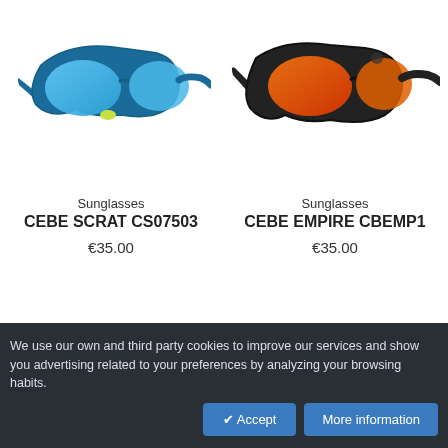[Figure (photo): Blue sport sunglasses CEBE SCRAT CS07503 with blue mirrored lenses and yellow-green accents]
[Figure (photo): Black sport sunglasses CEBE EMPIRE CBEMP1 with orange-red mirrored lenses]
Sunglasses
CEBE SCRAT CS07503
€35.00
Sunglasses
CEBE EMPIRE CBEMP1
€35.00
We use our own and third party cookies to improve our services and show you advertising related to your preferences by analyzing your browsing habits.